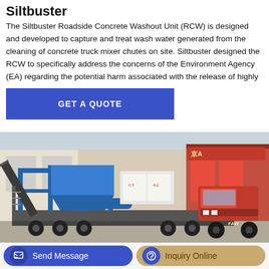Siltbuster
The Siltbuster Roadside Concrete Washout Unit (RCW) is designed and developed to capture and treat wash water generated from the cleaning of concrete truck mixer chutes on site. Siltbuster designed the RCW to specifically address the concerns of the Environment Agency (EA) regarding the potential harm associated with the release of highly
GET A QUOTE
[Figure (photo): A blue mobile concrete batching plant on a semi-trailer with a red FAW truck cab, photographed in an industrial yard with Chinese signage in the background.]
Send Message
Inquiry Online